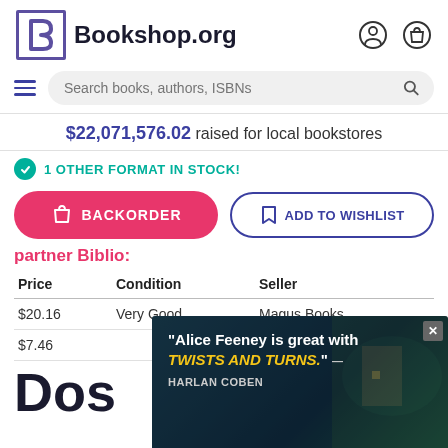Bookshop.org
Search books, authors, ISBNs
$22,071,576.02 raised for local bookstores
1 OTHER FORMAT IN STOCK!
BACKORDER
ADD TO WISHLIST
partner Biblio:
| Price | Condition | Seller |
| --- | --- | --- |
| $20.16 | Very Good | Magus Books |
| $7.46 |  |  |
Dos
[Figure (screenshot): Advertisement overlay featuring a quote: 'Alice Feeney is great with TWISTS AND TURNS.' — HARLAN COBEN, with a dark atmospheric background image of a cliff house]